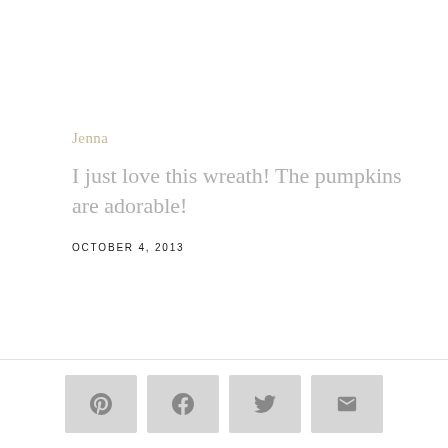Jenna
I just love this wreath! The pumpkins are adorable!
OCTOBER 4, 2013
[Figure (infographic): Social sharing buttons row: Pinterest, Facebook, Twitter, Email icons on light grey rectangular buttons]